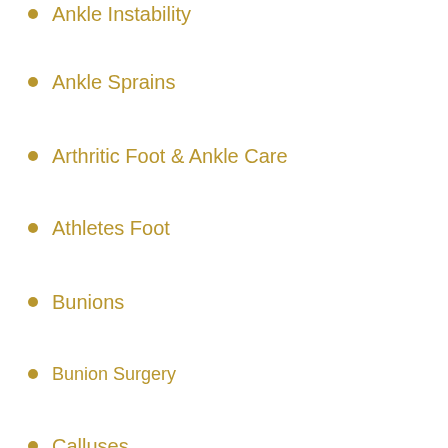Ankle Instability
Ankle Sprains
Arthritic Foot & Ankle Care
Athletes Foot
Bunions
Bunion Surgery
Calluses
Corns
Crush Injuries
Diabetic Foot
Flat Feet
Fungus Toenails
Geriatric Foot Care